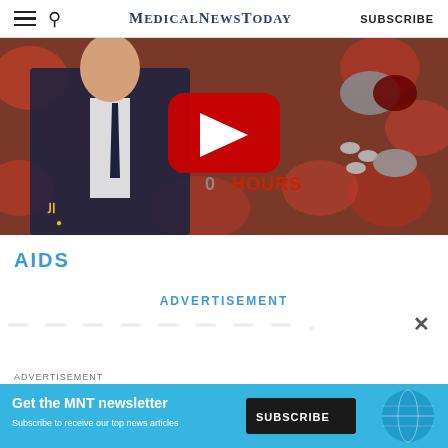MedicalNewsToday
[Figure (screenshot): YouTube video thumbnail showing a news presenter in a suit with Al Jazeera logo, overlaid with a red YouTube play button, blood cells background, pills/capsules graphic, and text 'HOURS']
AIDS
ADVERTISEMENT
[Figure (screenshot): Advertisement banner: 'Get the MNT newsletter - Subscribe to receive our top news articles' with a Subscribe button on a teal/blue background]